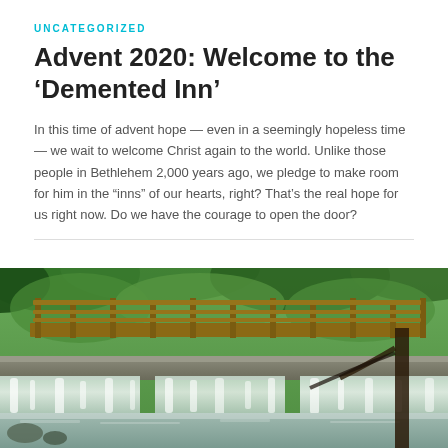UNCATEGORIZED
Advent 2020: Welcome to the ‘Demented Inn’
In this time of advent hope — even in a seemingly hopeless time — we wait to welcome Christ again to the world. Unlike those people in Bethlehem 2,000 years ago, we pledge to make room for him in the “inns” of our hearts, right? That’s the real hope for us right now. Do we have the courage to open the door?
[Figure (photo): A wooden bridge over a waterfall surrounded by lush green trees and foliage, with water cascading over a stone ledge below.]